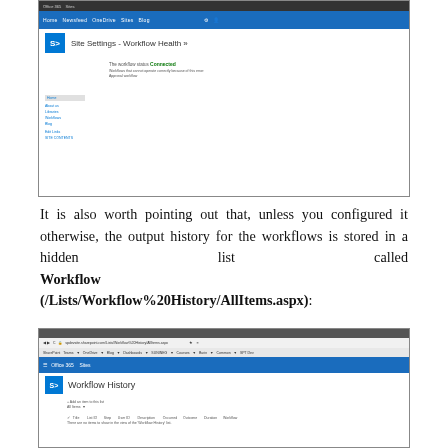[Figure (screenshot): Screenshot of SharePoint Site Settings - Workflow Health page showing Connected status]
It is also worth pointing out that, unless you configured it otherwise, the output history for the workflows is stored in a hidden list called Workflow History (/Lists/Workflow%20History/AllItems.aspx):
[Figure (screenshot): Screenshot of SharePoint Workflow History list page]